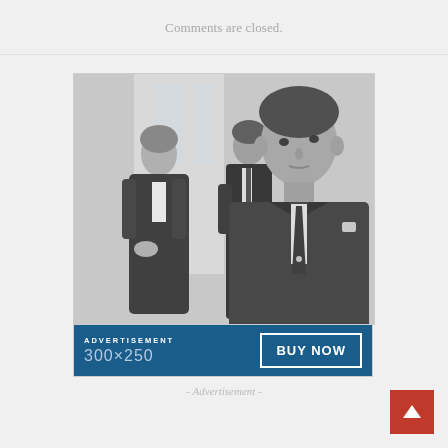Comments are closed.
[Figure (photo): Advertisement banner 300x250 showing three business professionals in black and white photo with a blue bar at the bottom containing 'ADVERTISEMENT', '300x250', and 'BUY NOW' button.]
- Advertisement -